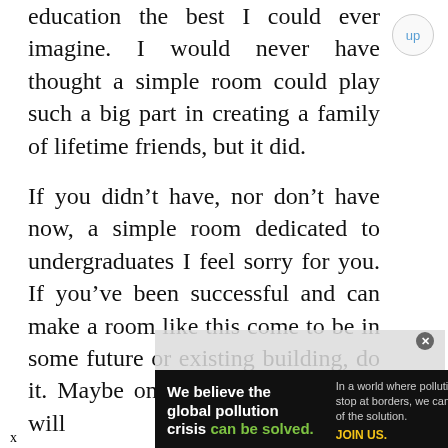education the best I could ever imagine. I would never have thought a simple room could play such a big part in creating a family of lifetime friends, but it did.
If you didn’t have, nor don’t have now, a simple room dedicated to undergraduates I feel sorry for you. If you’ve been successful and can make a room like this come to be in some future or existing building, do it. Maybe one day a future student will
[Figure (other): Overlapping UI element showing 'No compatible source was found' message and a Pure Earth advertisement banner with text 'We believe the global pollution crisis can be solved.' and 'JOIN US.' with Pure Earth logo]
x